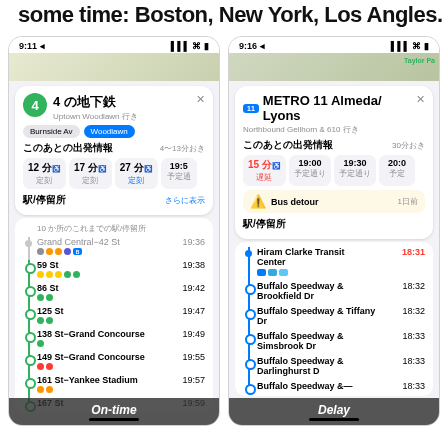some time: Boston, New York, Los Angles.
[Figure (screenshot): iPhone screenshot of Apple Maps showing transit info for '4 の地下鉄' (4 Train) Uptown Woodlawn with departure times and stops list including Grand Central-42 St, 59 St, 86 St, 125 St, 138 St–Grand Concourse, 149 St–Grand Concourse, 161 St–Yankee Stadium, 167 St, with On-time overlay banner]
[Figure (screenshot): iPhone screenshot of Apple Maps showing transit info for METRO 11 Almeda/Lyons route Northbound Gellhorn & 610 with departure times, bus detour notice, and stops list including Hiram Clarke Transit Center, Buffalo Speedway & Brookfield Dr, Buffalo Speedway & Tiffany Dr, Buffalo Speedway & Simsbrook Dr, Buffalo Speedway & Darlinghurst D, with Delay overlay banner]